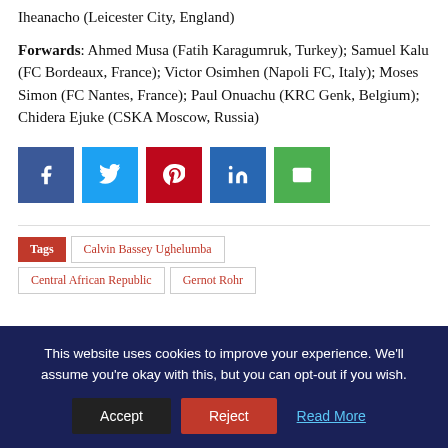Iheanacho (Leicester City, England)
Forwards: Ahmed Musa (Fatih Karagumruk, Turkey); Samuel Kalu (FC Bordeaux, France); Victor Osimhen (Napoli FC, Italy); Moses Simon (FC Nantes, France); Paul Onuachu (KRC Genk, Belgium); Chidera Ejuke (CSKA Moscow, Russia)
[Figure (other): Social share buttons: Facebook, Twitter, Pinterest, LinkedIn, Email]
Tags  Calvin Bassey Ughelumba  Central African Republic  Gernot Rohr
This website uses cookies to improve your experience. We'll assume you're okay with this, but you can opt-out if you wish. Accept Reject Read More